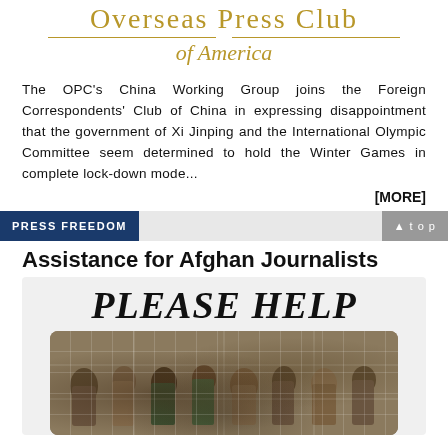Overseas Press Club of America
The OPC's China Working Group joins the Foreign Correspondents' Club of China in expressing disappointment that the government of Xi Jinping and the International Olympic Committee seem determined to hold the Winter Games in complete lock-down mode...
[MORE]
PRESS FREEDOM
Assistance for Afghan Journalists
[Figure (photo): Promotional image with text 'PLEASE HELP' above a photo of a crowd of Afghan refugees or displaced people, including children, in a crowded indoor setting]